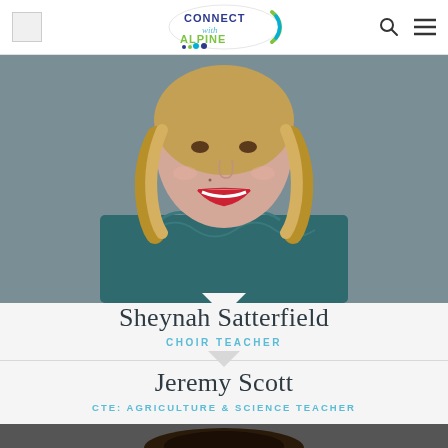Connect with Alpine
[Figure (photo): Portrait photo of Sheynah Satterfield, a woman with curly blonde hair smiling, wearing a dark teal ruffled top, photographed from mid-torso up against a grey background.]
Sheynah Satterfield
CHOIR TEACHER
Jeremy Scott
CTE: AGRICULTURE & SCIENCE TEACHER
[Figure (photo): Portrait photo of Jeremy Scott, partially visible at the bottom of the page, dark hair, against a dark background.]